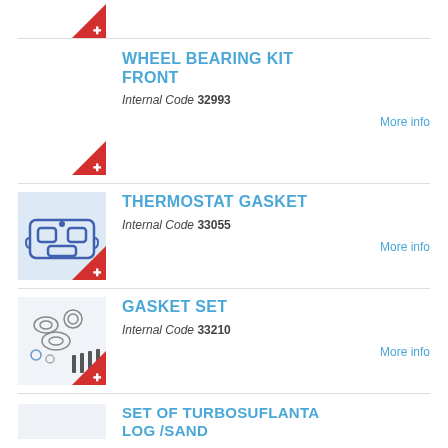[Figure (illustration): Partial product image with red Swiss cross badge triangle at bottom right]
WHEEL BEARING KIT FRONT
Internal Code 32993
More info
[Figure (illustration): Thermostat gasket product image with blue gasket drawing on light blue background, red Swiss cross badge]
THERMOSTAT GASKET
Internal Code 33055
More info
[Figure (illustration): Gasket set product image showing various gaskets and bolts on light background, red Swiss cross badge]
GASKET SET
Internal Code 33210
More info
[Figure (illustration): Partial image of SET OF TURBOSUFLANTA LOG /SAND product]
SET OF TURBOSUFLANTA LOG /SAND